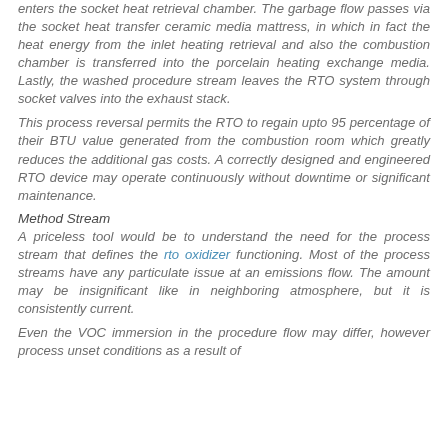enters the socket heat retrieval chamber. The garbage flow passes via the socket heat transfer ceramic media mattress, in which in fact the heat energy from the inlet heating retrieval and also the combustion chamber is transferred into the porcelain heating exchange media. Lastly, the washed procedure stream leaves the RTO system through socket valves into the exhaust stack.
This process reversal permits the RTO to regain upto 95 percentage of their BTU value generated from the combustion room which greatly reduces the additional gas costs. A correctly designed and engineered RTO device may operate continuously without downtime or significant maintenance.
Method Stream
A priceless tool would be to understand the need for the process stream that defines the rto oxidizer functioning. Most of the process streams have any particulate issue at an emissions flow. The amount may be insignificant like in neighboring atmosphere, but it is consistently current.
Even the VOC immersion in the procedure flow may differ, however process unset conditions as a result of